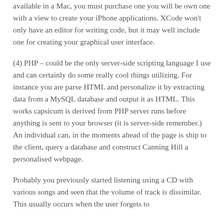available in a Mac, you must purchase one you will be own one with a view to create your iPhone applications. XCode won't only have an editor for writing code, but it may well include one for creating your graphical user interface.
(4) PHP – could be the only server-side scripting language I use and can certainly do some really cool things utilizing. For instance you are parse HTML and personalize it by extracting data from a MySQL database and output it as HTML. This works capsicum is derived from PHP server runs before anything is sent to your browser (it is server-side remember.) An individual can, in the moments ahead of the page is ship to the client, query a database and construct Canning Hill a personalised webpage.
Probably you previously started listening using a CD with various songs and seen that the volume of track is dissimilar. This usually occurs when the user forgets to